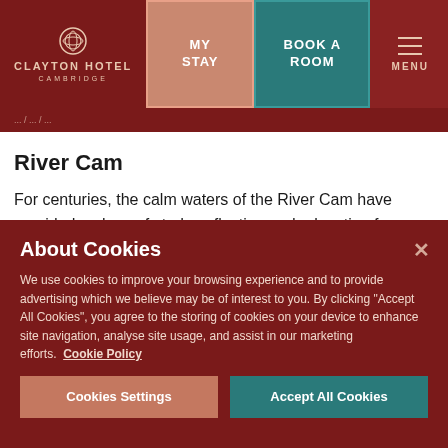CLAYTON HOTEL CAMBRIDGE | MY STAY | BOOK A ROOM | MENU
River Cam
For centuries, the calm waters of the River Cam have provided a place of study, reflection and relaxation for students, academics and travellers from around the world. If you're looking to see the sights of Cambridge while
About Cookies
We use cookies to improve your browsing experience and to provide advertising which we believe may be of interest to you. By clicking "Accept All Cookies", you agree to the storing of cookies on your device to enhance site navigation, analyse site usage, and assist in our marketing efforts. Cookie Policy
Cookies Settings
Accept All Cookies